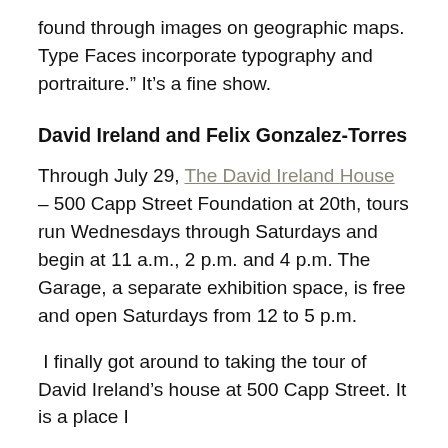found through images on geographic maps. Type Faces incorporate typography and portraiture.” It’s a fine show.
David Ireland and Felix Gonzalez-Torres
Through July 29, The David Ireland House – 500 Capp Street Foundation at 20th, tours run Wednesdays through Saturdays and begin at 11 a.m., 2 p.m. and 4 p.m. The Garage, a separate exhibition space, is free and open Saturdays from 12 to 5 p.m.
I finally got around to taking the tour of David Ireland’s house at 500 Capp Street. It is a place I